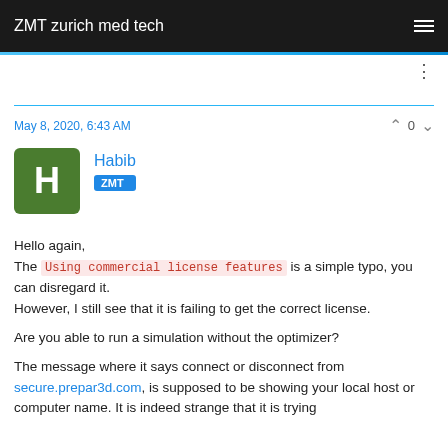ZMT zurich med tech
May 8, 2020, 6:43 AM
Habib ZMT
Hello again,
The Using commercial license features is a simple typo, you can disregard it.
However, I still see that it is failing to get the correct license.

Are you able to run a simulation without the optimizer?

The message where it says connect or disconnect from secure.prepar3d.com, is supposed to be showing your local host or computer name. It is indeed strange that it is trying